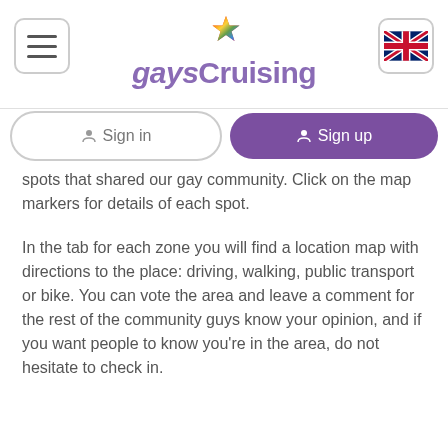gaysCruising
spots that shared our gay community. Click on the map markers for details of each spot.
In the tab for each zone you will find a location map with directions to the place: driving, walking, public transport or bike. You can vote the area and leave a comment for the rest of the community guys know your opinion, and if you want people to know you're in the area, do not hesitate to check in.